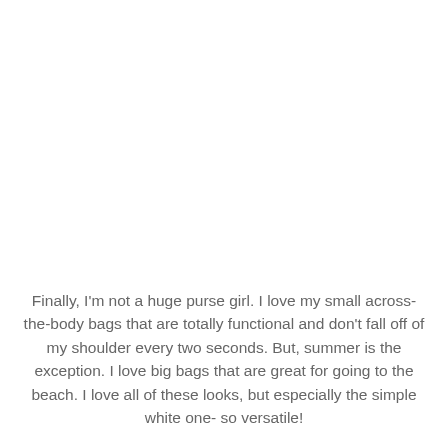Finally, I'm not a huge purse girl. I love my small across-the-body bags that are totally functional and don't fall off of my shoulder every two seconds. But, summer is the exception. I love big bags that are great for going to the beach. I love all of these looks, but especially the simple white one- so versatile!